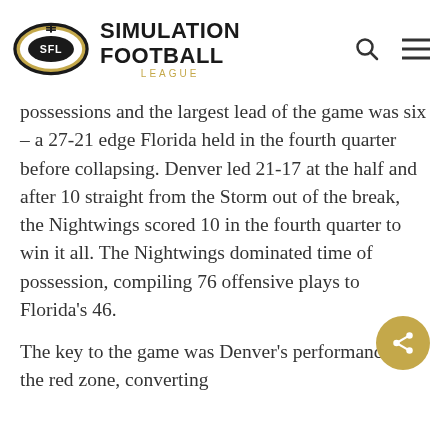[Figure (logo): Simulation Football League logo with football icon and SFL text]
possessions and the largest lead of the game was six – a 27-21 edge Florida held in the fourth quarter before collapsing. Denver led 21-17 at the half and after 10 straight from the Storm out of the break, the Nightwings scored 10 in the fourth quarter to win it all. The Nightwings dominated time of possession, compiling 76 offensive plays to Florida's 46.
The key to the game was Denver's performance in the red zone, converting